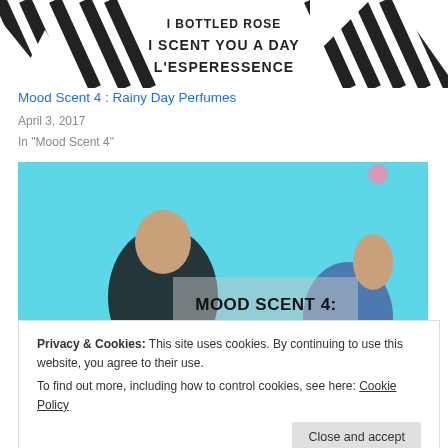[Figure (photo): Top banner image showing diagonal black and white stripes on sides with text 'I SCENT YOU A DAY L'ESPERESSENCE' in the center]
Mood Scent 4 : Rainy Day Perfumes
April 3, 2017
In "Mood Scent 4"
[Figure (photo): Photo of two people lounging on a teal/cyan background with text overlay reading 'MOOD SCENT 4: INNER TEEN' in bold black font on a semi-transparent white box]
Privacy & Cookies: This site uses cookies. By continuing to use this website, you agree to their use.
To find out more, including how to control cookies, see here: Cookie Policy
Close and accept
[Figure (photo): Bottom strip showing partial colorful image]